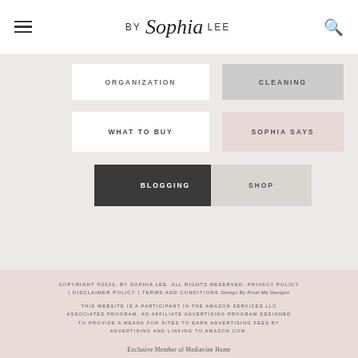BY Sophia LEE
ORGANIZATION
CLEANING
WHAT TO BUY
SOPHIA SAYS
BLOGGING
SHOP
COPYRIGHT ©2022, BY SOPHIA LEE. ALL RIGHTS RESERVED. PRIVACY POLICY | DISCLAIMER POLICY | TERMS AND CONDITIONS Design By Pixel Me Designs
THIS WEBSITE IS A PARTICIPANT IN THE AMAZON SERVICES LLC ASSOCIATES PROGRAM, AN AFFILIATE ADVERTISING PROGRAM DESIGNED TO PROVIDE A MEANS FOR SITES TO EARN ADVERTISING FEES BY ADVERTISING AND LINKING TO AMAZON.COM.
Exclusive Member of Mediavine Home